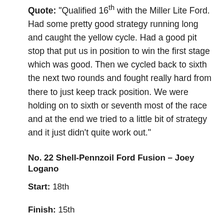Quote: "Qualified 16th with the Miller Lite Ford. Had some pretty good strategy running long and caught the yellow cycle. Had a good pit stop that put us in position to win the first stage which was good. Then we cycled back to sixth the next two rounds and fought really hard from there to just keep track position. We were holding on to sixth or seventh most of the race and at the end we tried to a little bit of strategy and it just didn't quite work out."
No. 22 Shell-Pennzoil Ford Fusion – Joey Logano
Start: 18th
Finish: 15th